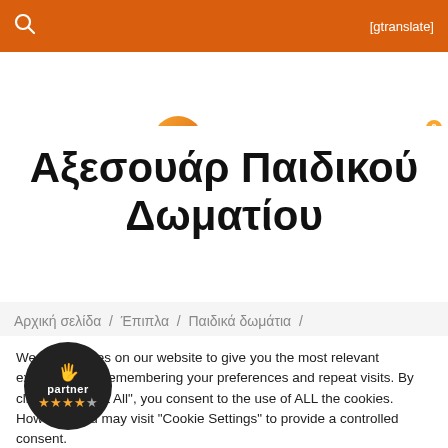[gtranslate]
[Figure (logo): zhta.gr logo with orange Z circle and site name]
Αξεσουάρ Παιδικού Δωματίου
Αρχική σελίδα / Έπιπλα / Παιδικά δωμάτια /
We use cookies on our website to give you the most relevant experience by remembering your preferences and repeat visits. By clicking "Accept All", you consent to the use of ALL the cookies. However, you may visit "Cookie Settings" to provide a controlled consent.
[Figure (logo): Partner badge with 4.5 star rating]